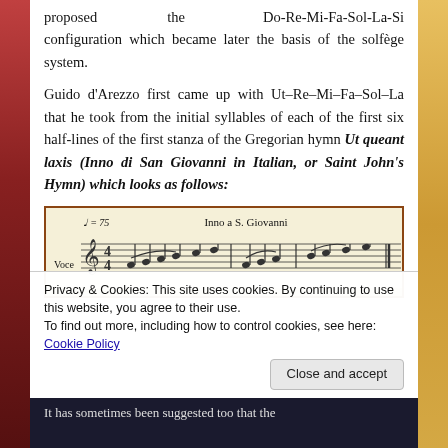proposed the Do-Re-Mi-Fa-Sol-La-Si configuration which became later the basis of the solfège system.

Guido d'Arezzo first came up with Ut–Re–Mi–Fa–Sol–La that he took from the initial syllables of each of the first six half-lines of the first stanza of the Gregorian hymn Ut queant laxis (Inno di San Giovanni in Italian, or Saint John's Hymn) which looks as follows:
[Figure (illustration): Musical score image showing 'Inno a S. Giovanni' with tempo marking J=75, voice part with treble clef, and musical notation on staff lines with notes and slurs.]
Privacy & Cookies: This site uses cookies. By continuing to use this website, you agree to their use.
To find out more, including how to control cookies, see here: Cookie Policy
It has sometimes been suggested too that the